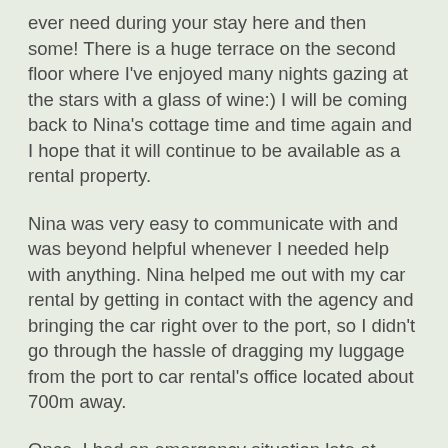ever need during your stay here and then some! There is a huge terrace on the second floor where I've enjoyed many nights gazing at the stars with a glass of wine:) I will be coming back to Nina's cottage time and time again and I hope that it will continue to be available as a rental property.
Nina was very easy to communicate with and was beyond helpful whenever I needed help with anything. Nina helped me out with my car rental by getting in contact with the agency and bringing the car right over to the port, so I didn't go through the hassle of dragging my luggage from the port to car rental's office located about 700m away.
Once, I had an emergency situation late at night and needed to go the clinic and Nina came over to the cottage with her fiancé to help me get over there safely!!! And did I mention that you have two huge walnut trees right in front the cottage and you can